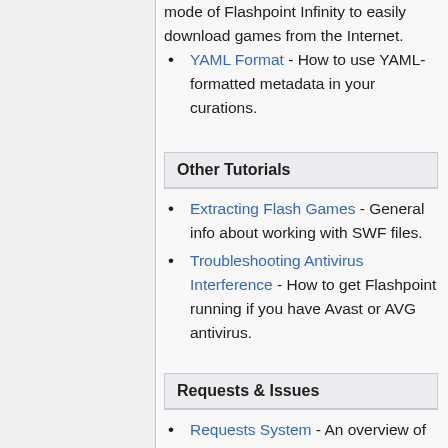mode of Flashpoint Infinity to easily download games from the Internet.
YAML Format - How to use YAML-formatted metadata in your curations.
Other Tutorials
Extracting Flash Games - General info about working with SWF files.
Troubleshooting Antivirus Interference - How to get Flashpoint running if you have Avast or AVG antivirus.
Requests & Issues
Requests System - An overview of the Flashpoint Requests system.
Requests Sheet - How to use the